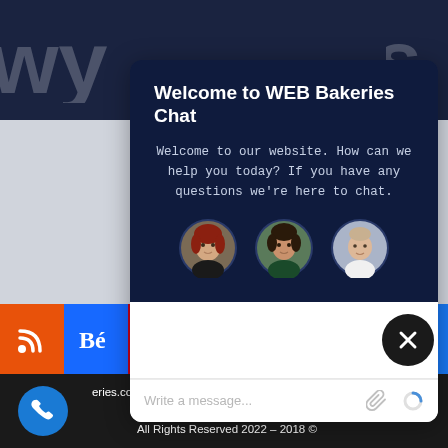[Figure (screenshot): Background of a website with dark navy header and grey body area, partially visible logo text on left and right side]
Welcome to WEB Bakeries Chat
Welcome to our website. How can we help you today? If you have any questions we're here to chat.
[Figure (photo): Three circular avatar photos of chat support agents (two women, one man) displayed side by side]
[Figure (screenshot): Chat message input area with placeholder text 'Write a message...' and paperclip and loading spinner icons]
[Figure (infographic): Social media icon bar with RSS, Behance, Pinterest, Instagram, LinkedIn, Twitter, Facebook buttons]
eries.com is a proud part of Captec Group | Business Development Ltd
All Rights Reserved 2022 – 2018 ©